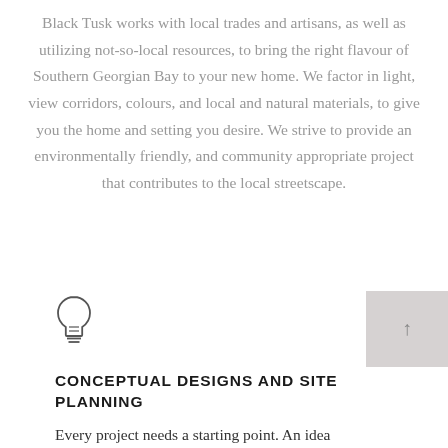Black Tusk works with local trades and artisans, as well as utilizing not-so-local resources, to bring the right flavour of Southern Georgian Bay to your new home. We factor in light, view corridors, colours, and local and natural materials, to give you the home and setting you desire. We strive to provide an environmentally friendly, and community appropriate project that contributes to the local streetscape.
[Figure (illustration): Light bulb icon (outline style)]
[Figure (other): Gray square box with an upward arrow symbol (back-to-top button)]
CONCEPTUAL DESIGNS AND SITE PLANNING
Every project needs a starting point. An idea